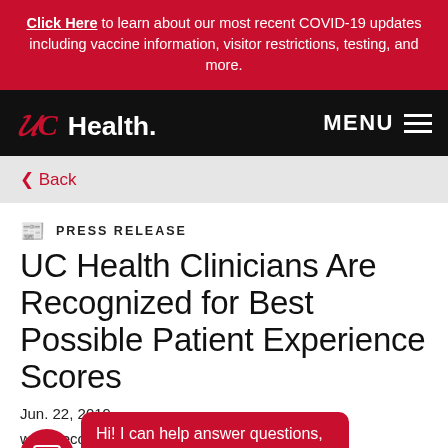Click Here to learn about our most recent COVID-19 updates including vaccine information, visitor restrictions, testing, and more.
[Figure (logo): UC Health logo and navigation bar with MENU button on black background]
< Back
PRESS RELEASE
UC Health Clinicians Are Recognized for Best Possible Patient Experience Scores
Jun. 22, 2019
were recognized as the top 1% in the nation for
Hi! I can help answer questions, especially with COVID-19 or billing.